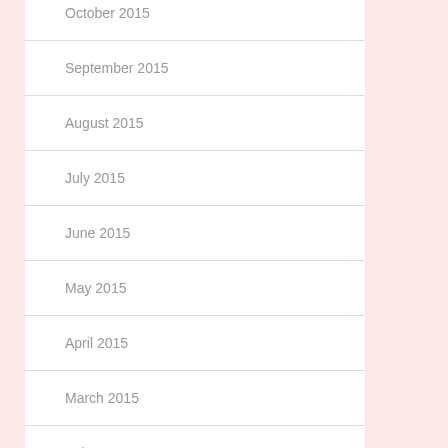October 2015
September 2015
August 2015
July 2015
June 2015
May 2015
April 2015
March 2015
February 2015